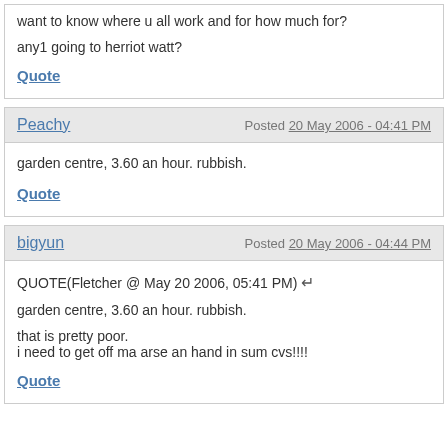want to know where u all work and for how much for?
any1 going to herriot watt?
Quote
Peachy
Posted 20 May 2006 - 04:41 PM
garden centre, 3.60 an hour. rubbish.
Quote
bigyun
Posted 20 May 2006 - 04:44 PM
QUOTE(Fletcher @ May 20 2006, 05:41 PM)
garden centre, 3.60 an hour. rubbish.
that is pretty poor.
i need to get off ma arse an hand in sum cvs!!!!
Quote